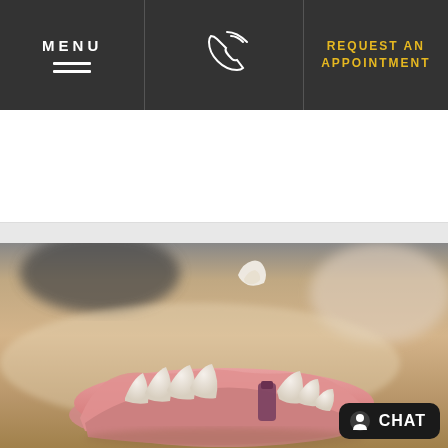MENU
[Figure (other): Phone/call icon in white outline style]
REQUEST AN APPOINTMENT
[Figure (photo): Close-up photo of a dental model showing a lower jaw with teeth and an implant post, with a dental crown floating above it, on a table surface]
CHAT